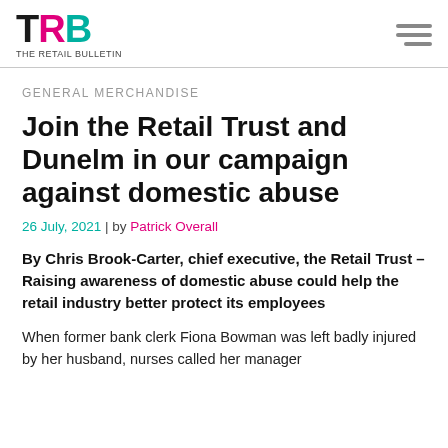TRB THE RETAIL BULLETIN
GENERAL MERCHANDISE
Join the Retail Trust and Dunelm in our campaign against domestic abuse
26 July, 2021 | by Patrick Overall
By Chris Brook-Carter, chief executive, the Retail Trust – Raising awareness of domestic abuse could help the retail industry better protect its employees
When former bank clerk Fiona Bowman was left badly injured by her husband, nurses called her manager